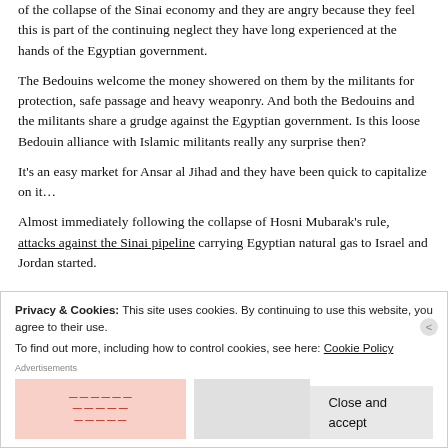of the collapse of the Sinai economy and they are angry because they feel this is part of the continuing neglect they have long experienced at the hands of the Egyptian government.
The Bedouins welcome the money showered on them by the militants for protection, safe passage and heavy weaponry. And both the Bedouins and the militants share a grudge against the Egyptian government. Is this loose Bedouin alliance with Islamic militants really any surprise then?
It's an easy market for Ansar al Jihad and they have been quick to capitalize on it…
Almost immediately following the collapse of Hosni Mubarak's rule, attacks against the Sinai pipeline carrying Egyptian natural gas to Israel and Jordan started.
Privacy & Cookies: This site uses cookies. By continuing to use this website, you agree to their use.
To find out more, including how to control cookies, see here: Cookie Policy